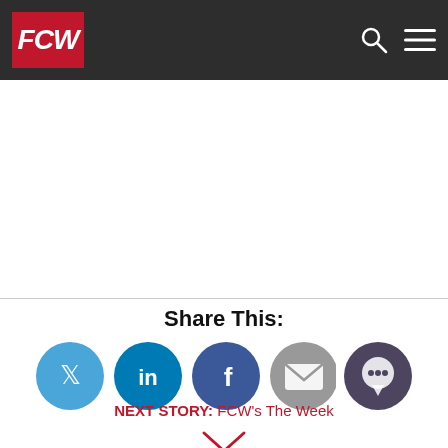FCW
[Figure (screenshot): White advertisement/content area placeholder]
Share This:
[Figure (infographic): Social share icons: Twitter, LinkedIn, Facebook, Email, Comment]
NEXT STORY: FCW's The Week